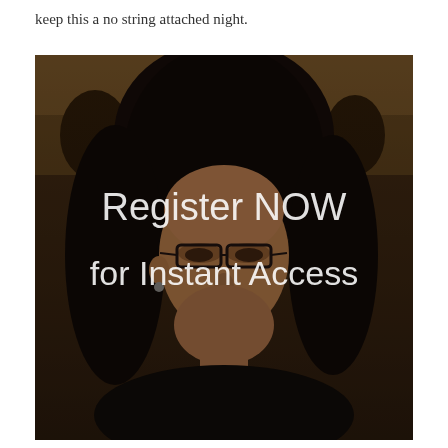keep this a no string attached night.
[Figure (photo): Portrait photo of a woman with glasses and dark hair, with overlay text 'Register NOW for Instant Access' overlaid in white semi-transparent text]